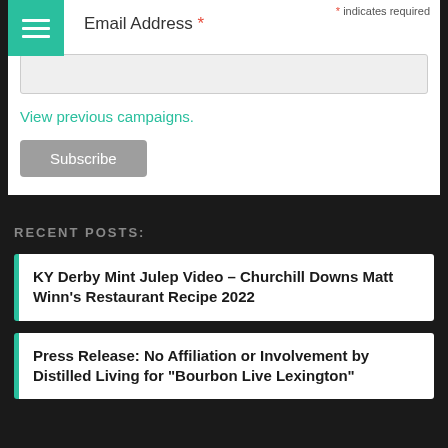* indicates required
Email Address *
View previous campaigns.
Subscribe
RECENT POSTS:
KY Derby Mint Julep Video – Churchill Downs Matt Winn’s Restaurant Recipe 2022
Press Release: No Affiliation or Involvement by Distilled Living for “Bourbon Live Lexington”